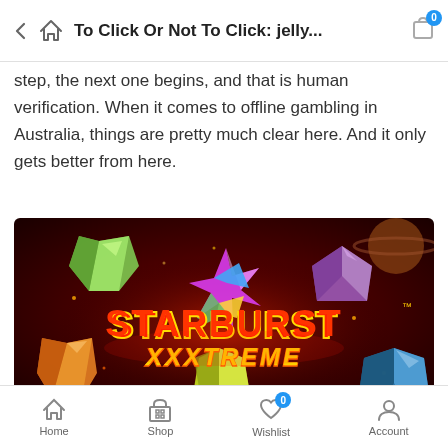To Click Or Not To Click: jelly...
step, the next one begins, and that is human verification. When it comes to offline gambling in Australia, things are pretty much clear here. And it only gets better from here.
[Figure (photo): Starburst XXXtreme slot game promotional image with colorful gems on a red cosmic background]
Home  Shop  Wishlist  Account